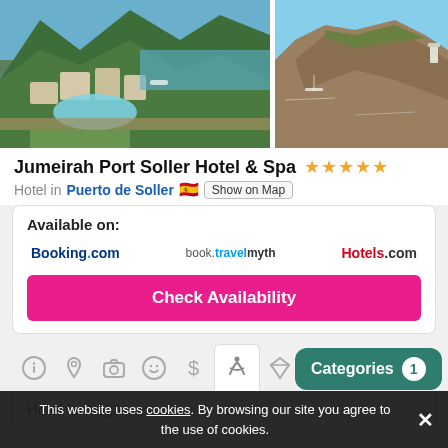[Figure (photo): Aerial view of Jumeirah Port Soller Hotel with pool and coastline (left), rocky coastal cliff with sea view (right)]
Jumeirah Port Soller Hotel & Spa ★★★★★
Hotel in Puerto de Soller 🇪🇸 Show on Map
Available on: Booking.com  book.travelmyth  Hotels.com
Check Availability
Hotel for Yoga
Categories 1
This website uses cookies. By browsing our site you agree to the use of cookies.